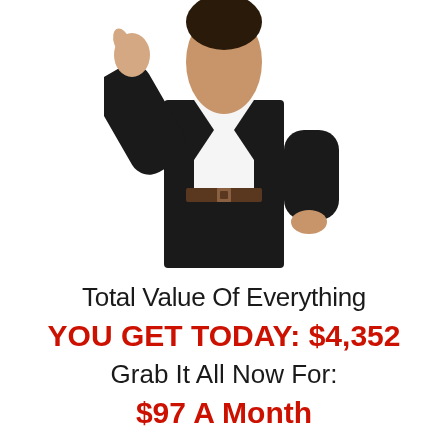[Figure (photo): A man in a black suit with white shirt and brown belt, photographed from the torso up, raising one hand with a thumbs-up or pointing gesture against a white background.]
Total Value Of Everything
YOU GET TODAY: $4,352
Grab It All Now For:
$97 A Month